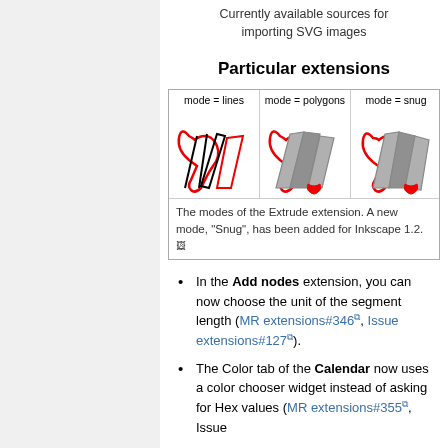Currently available sources for importing SVG images
Particular extensions
[Figure (illustration): Three panels showing modes of the Extrude extension: mode=lines (outlines only), mode=polygons (gray filled polygons), mode=snug (gray filled snug polygons), each with red accent shapes.]
The modes of the Extrude extension. A new mode, "Snug", has been added for Inkscape 1.2.
In the Add nodes extension, you can now choose the unit of the segment length (MR extensions#346, Issue extensions#127).
The Color tab of the Calendar now uses a color chooser widget instead of asking for Hex values (MR extensions#355, Issue